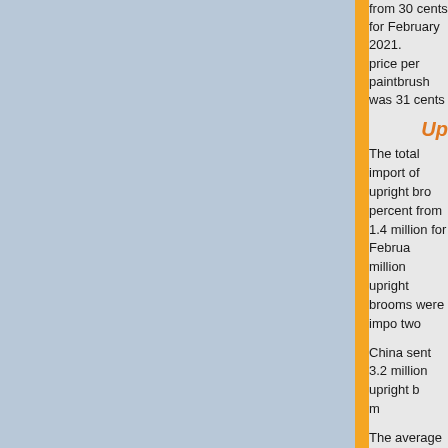from 30 cents for February 2021. price per paintbrush was 31 cents
Up
The total import of upright bro percent from 1.4 million for Februa million upright brooms were impo two
China sent 3.2 million upright b m
The average price per broom the average price for February average price per broom was $ m
Export totals for February 2022 and brushes of vegetable m compared to February 2021. F